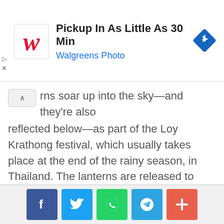[Figure (screenshot): Walgreens Photo advertisement banner with red W logo, text 'Pickup In As Little As 30 Min' and 'Walgreens Photo', blue navigation diamond icon, and play/close controls on left side]
rns soar up into the sky—and they're also reflected below—as part of the Loy Krathong festival, which usually takes place at the end of the rainy season, in Thailand. The lanterns are released to protect against bad luck.
[Figure (screenshot): Social share bar with Facebook (dark blue), Twitter (light blue), WhatsApp (green), Telegram (blue), and More/Plus (orange-red) icon buttons]